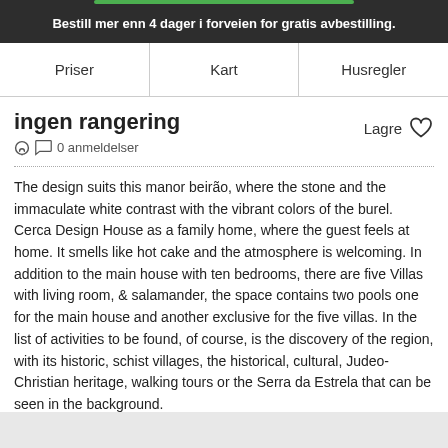Bestill mer enn 4 dager i forveien for gratis avbestilling.
Priser  Kart  Husregler
ingen rangering
0 anmeldelser
Lagre
The design suits this manor beirão, where the stone and the immaculate white contrast with the vibrant colors of the burel. Cerca Design House as a family home, where the guest feels at home. It smells like hot cake and the atmosphere is welcoming. In addition to the main house with ten bedrooms, there are five Villas with living room, & salamander, the space contains two pools one for the main house and another exclusive for the five villas. In the list of activities to be found, of course, is the discovery of the region, with its historic, schist villages, the historical, cultural, Judeo-Christian heritage, walking tours or the Serra da Estrela that can be seen in the background.
vis mer